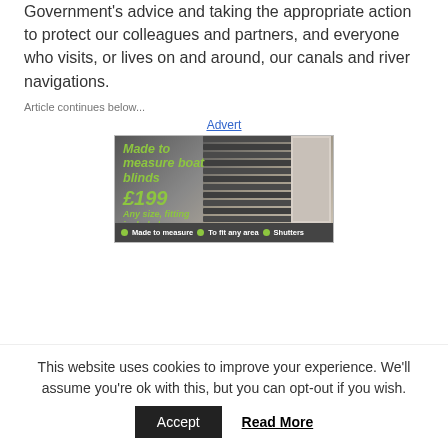Government's advice and taking the appropriate action to protect our colleagues and partners, and everyone who visits, or lives on and around, our canals and river navigations.
Article continues below...
Advert
[Figure (photo): Advertisement for made to measure boat blinds priced at £199, any size fitting included. Shows boat blinds/shutters. Footer reads: Made to measure • To fit any area • Shutters]
This website uses cookies to improve your experience. We'll assume you're ok with this, but you can opt-out if you wish.
Accept   Read More